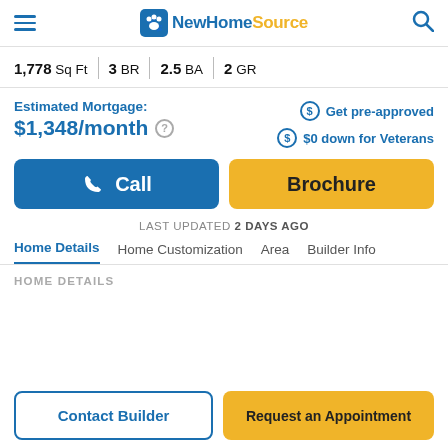NewHomeSource
1,778 Sq Ft | 3 BR | 2.5 BA | 2 GR
Estimated Mortgage: $1,348/month
Get pre-approved
$0 down for Veterans
Call
Brochure
LAST UPDATED 2 DAYS AGO
Home Details | Home Customization | Area | Builder Info
HOME DETAILS
Contact Builder
Request an Appointment